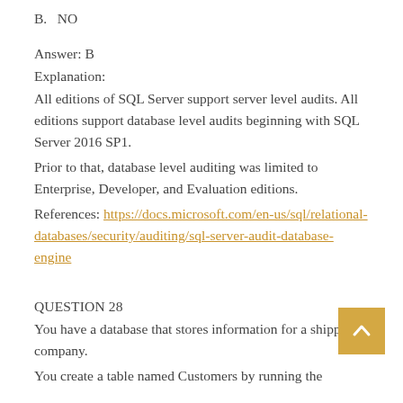B. NO
Answer: B
Explanation:
All editions of SQL Server support server level audits. All editions support database level audits beginning with SQL Server 2016 SP1.
Prior to that, database level auditing was limited to Enterprise, Developer, and Evaluation editions.
References: https://docs.microsoft.com/en-us/sql/relational-databases/security/auditing/sql-server-audit-database-engine
QUESTION 28
You have a database that stores information for a shipping company.
You create a table named Customers by running the